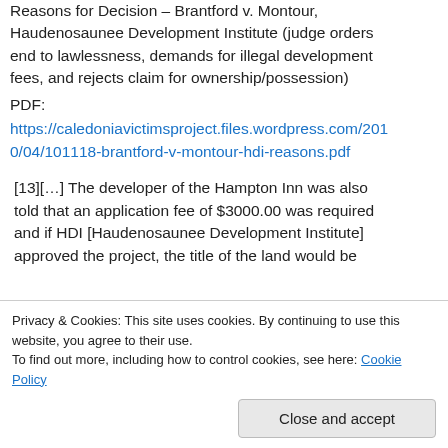Reasons for Decision – Brantford v. Montour, Haudenosaunee Development Institute (judge orders end to lawlessness, demands for illegal development fees, and rejects claim for ownership/possession) PDF:
https://caledoniavictimsproject.files.wordpress.com/2010/04/101118-brantford-v-montour-hdi-reasons.pdf
[13][…] The developer of the Hampton Inn was also told that an application fee of $3000.00 was required and if HDI [Haudenosaunee Development Institute] approved the project, the title of the land would be
amount of $7000.00 from Kingspan. This fee was not
Privacy & Cookies: This site uses cookies. By continuing to use this website, you agree to their use. To find out more, including how to control cookies, see here: Cookie Policy